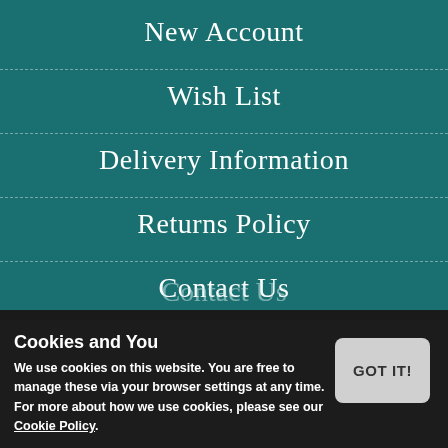New Account
Wish List
Delivery Information
Returns Policy
Contact Us
About Us
Privacy Policy
Cookies and You
We use cookies on this website. You are free to manage these via your browser settings at any time. For more about how we use cookies, please see our Cookie Policy.